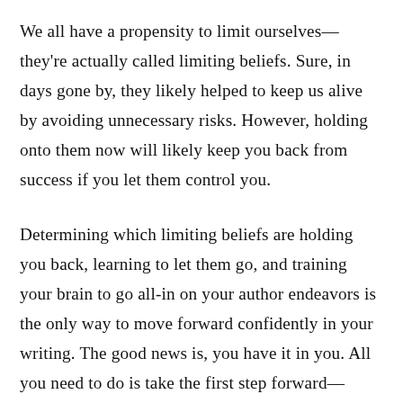We all have a propensity to limit ourselves—they're actually called limiting beliefs. Sure, in days gone by, they likely helped to keep us alive by avoiding unnecessary risks. However, holding onto them now will likely keep you back from success if you let them control you.
Determining which limiting beliefs are holding you back, learning to let them go, and training your brain to go all-in on your author endeavors is the only way to move forward confidently in your writing. The good news is, you have it in you. All you need to do is take the first step forward—investing time and energy into your writing and